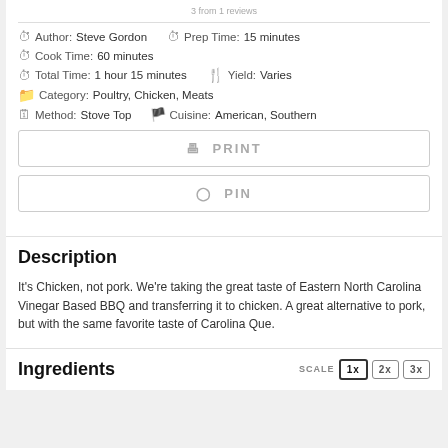3 from 1 reviews
Author: Steve Gordon   Prep Time: 15 minutes
Cook Time: 60 minutes
Total Time: 1 hour 15 minutes   Yield: Varies
Category: Poultry, Chicken, Meats
Method: Stove Top   Cuisine: American, Southern
PRINT
PIN
Description
It's Chicken, not pork. We're taking the great taste of Eastern North Carolina Vinegar Based BBQ and transferring it to chicken. A great alternative to pork, but with the same favorite taste of Carolina Que.
Ingredients